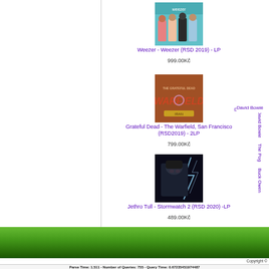[Figure (photo): Weezer album cover - RSD 2019 - four band members standing against teal/green background]
Weezer - Weezer (RSD 2019) - LP
999.00Kč
David Bowie...
[Figure (photo): Grateful Dead - The Warfield album cover with orange/brown tones]
Grateful Dead - The Warfield, San Francisco (RSD2019) - 2LP
799.00Kč
The Pog...
[Figure (photo): Jethro Tull - Stormwatch 2 album cover showing a man in dark setting]
Jethro Tull - Stormwatch 2 (RSD 2020) -LP
489.00Kč
Buck Owen...
Parse Time: 1.511 - Number of Queries: 755 - Query Time: 0.67235451974487